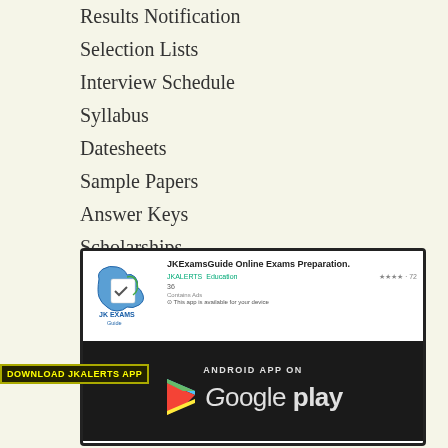Results Notification
Selection Lists
Interview Schedule
Syllabus
Datesheets
Sample Papers
Answer Keys
Scholarships
Latest Jobs J&K
[Figure (screenshot): JKExamsGuide app listing on Google Play store with Android App On Google Play banner and DOWNLOAD JKALERTS APP label]
DOWNLOAD JKALERTS APP